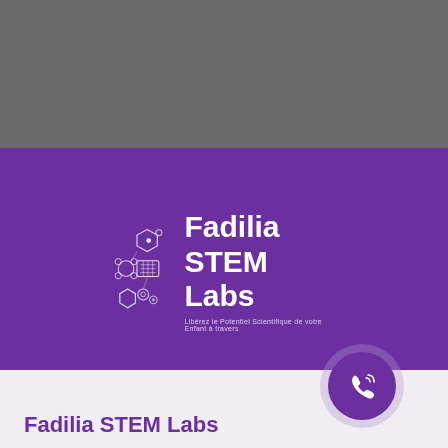[Figure (logo): Fadilia STEM Labs logo on purple background with STEM-related icons (hexagon, molecules, keyboard, gears) and tagline text below]
[Figure (illustration): Purple circular phone/call button with phone icon and ripple ring effect, positioned at bottom right]
Fadilia STEM Labs